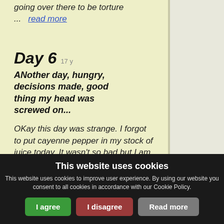going over there to be torture ...  read more
Day 6  17y
ANother day, hungry, decisions made, good thing my head was screwed on...
OKay this day was strange. I forgot to put cayenne pepper in my stock of juice today. It wasn't so bad but I am tired now. The body
This website uses cookies
This website uses cookies to improve user experience. By using our website you consent to all cookies in accordance with our Cookie Policy.
I agree
I disagree
Read more